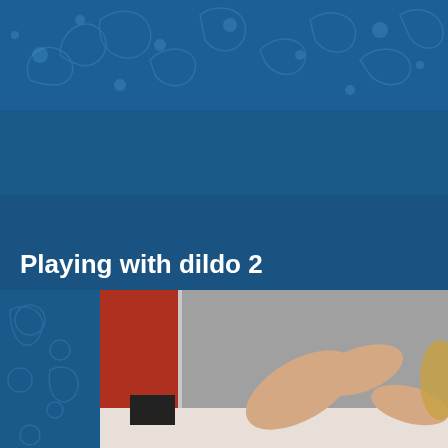Click to download(FIRE
Playing with dildo 2
[Figure (photo): Webcam screenshot showing a person in a room with red furniture and a gray wall/window in the background]